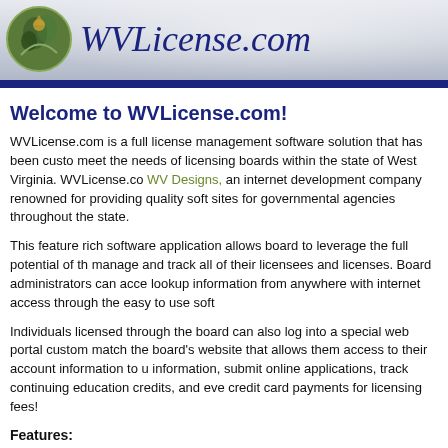[Figure (logo): WVLicense.com website header with West Virginia state logo/seal image on left and italic blue text 'WVLicense.com' on grey gradient background]
Welcome to WVLicense.com!
WVLicense.com is a full license management software solution that has been customized to meet the needs of licensing boards within the state of West Virginia. WVLicense.com is built by WV Designs, an internet development company renowned for providing quality software and sites for governmental agencies throughout the state.
This feature rich software application allows board to leverage the full potential of the internet to manage and track all of their licensees and licenses. Board administrators can access and lookup information from anywhere with internet access through the easy to use software.
Individuals licensed through the board can also log into a special web portal customized to match the board's website that allows them access to their account information to update their information, submit online applications, track continuing education credits, and even make credit card payments for licensing fees!
Features:
Account Management — Full control and tracking of licensee information, including contact information, phone numbers, demographical information, account notes, and more. All ch... system works well with any number of accounts, from a few dozen to tens o...
Multi-User Support — The system allows for each board administrator to have their own login cred... are tracked for historical purposes, meaning you will always be able to deter...